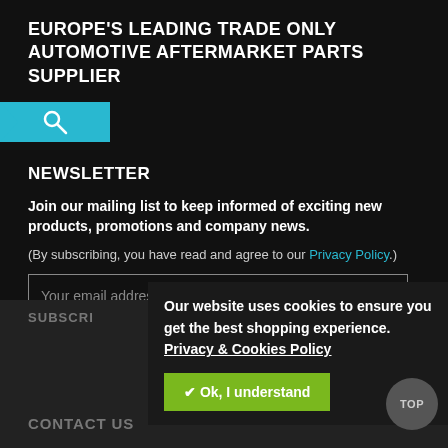EUROPE'S LEADING TRADE ONLY AUTOMOTIVE AFTERMARKET PARTS SUPPLIER
[Figure (other): Cyan search icon button with arrow on left side]
NEWSLETTER
Join our mailing list to keep informed of exciting new products, promotions and company news.
(By subscribing, you have read and agree to our Privacy Policy.)
Your email address
SUBSCRI
CONTACT US
Our website uses cookies to ensure you get the best shopping experience. Privacy & Cookies Policy
✔ Ok, I understand